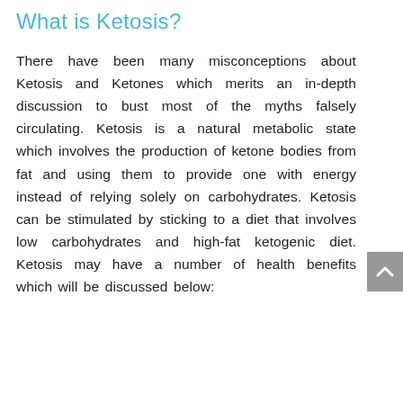What is Ketosis?
There have been many misconceptions about Ketosis and Ketones which merits an in-depth discussion to bust most of the myths falsely circulating. Ketosis is a natural metabolic state which involves the production of ketone bodies from fat and using them to provide one with energy instead of relying solely on carbohydrates. Ketosis can be stimulated by sticking to a diet that involves low carbohydrates and high-fat ketogenic diet. Ketosis may have a number of health benefits which will be discussed below: